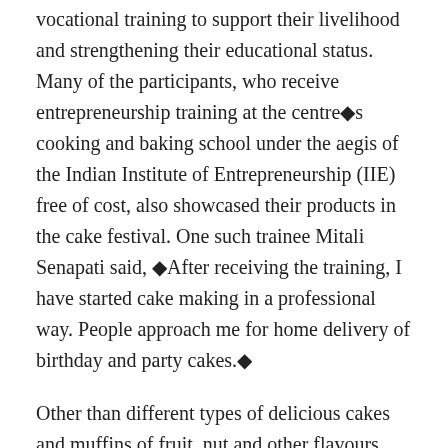vocational training to support their livelihood and strengthening their educational status. Many of the participants, who receive entrepreneurship training at the centre◆s cooking and baking school under the aegis of the Indian Institute of Entrepreneurship (IIE) free of cost, also showcased their products in the cake festival. One such trainee Mitali Senapati said, ◆After receiving the training, I have started cake making in a professional way. People approach me for home delivery of birthday and party cakes.◆
Other than different types of delicious cakes and muffins of fruit, nut and other flavours, there are also some special preparations for those who prefer eggless or sugar-free cakes.